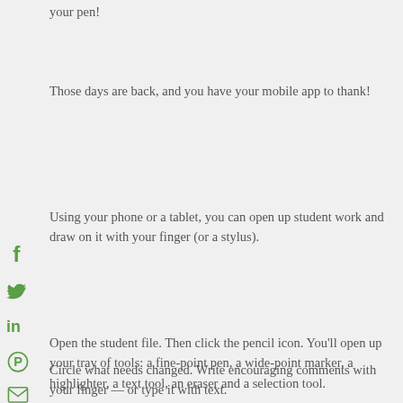your pen!
Those days are back, and you have your mobile app to thank!
Using your phone or a tablet, you can open up student work and draw on it with your finger (or a stylus).
Open the student file. Then click the pencil icon. You'll open up your tray of tools: a fine-point pen, a wide-point marker, a highlighter, a text tool, an eraser and a selection tool.
Circle what needs changed. Write encouraging comments with your finger — or type it with text.